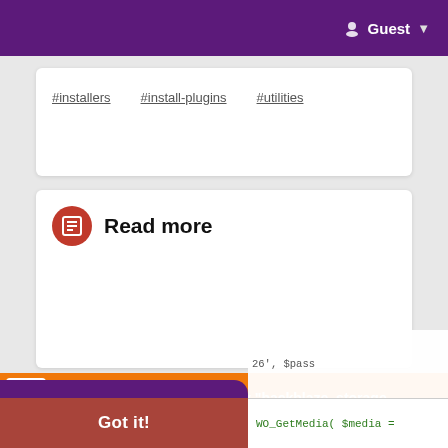Guest
#installers #install-plugins #utilities
Read more
Warning: Undefined array key "backblaze_storage…
| # | Time | Memory | Function |
| --- | --- | --- | --- |
This website uses cookies to ensure you get the best experience on our website. Learn More
Got it!